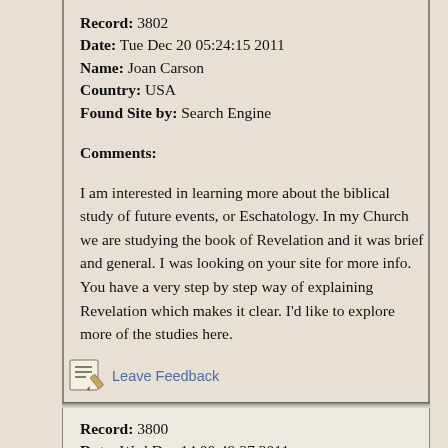Record: 3802
Date: Tue Dec 20 05:24:15 2011
Name: Joan Carson
Country: USA
Found Site by: Search Engine
Comments:
I am interested in learning more about the biblical study of future events, or Eschatology. In my Church we are studying the book of Revelation and it was brief and general. I was looking on your site for more info. You have a very step by step way of explaining Revelation which makes it clear. I'd like to explore more of the studies here.
Leave Feedback
Record: 3800
Date: Wed Dec 14 00:49:27 2011